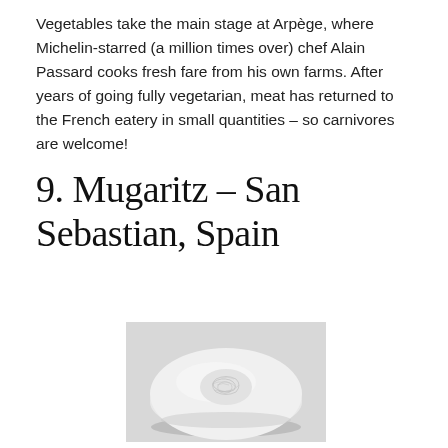Vegetables take the main stage at Arpège, where Michelin-starred (a million times over) chef Alain Passard cooks fresh fare from his own farms. After years of going fully vegetarian, meat has returned to the French eatery in small quantities – so carnivores are welcome!
9. Mugaritz – San Sebastian, Spain
[Figure (photo): A white oval-shaped ceramic dish or food item with an intricate textured pattern on top, photographed against a light grey background.]